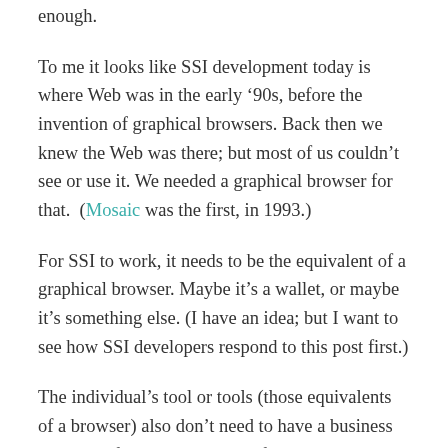enough.
To me it looks like SSI development today is where Web was in the early ’90s, before the invention of graphical browsers. Back then we knew the Web was there; but most of us couldn’t see or use it. We needed a graphical browser for that.  (Mosaic was the first, in 1993.)
For SSI to work, it needs to be the equivalent of a graphical browser. Maybe it’s a wallet, or maybe it’s something else. (I have an idea; but I want to see how SSI developers respond to this post first.)
The individual’s tool or tools (those equivalents of a browser) also don’t need to have a business model. In fact, it will be best if they don’t.
It should help to remember that Microsoft beat